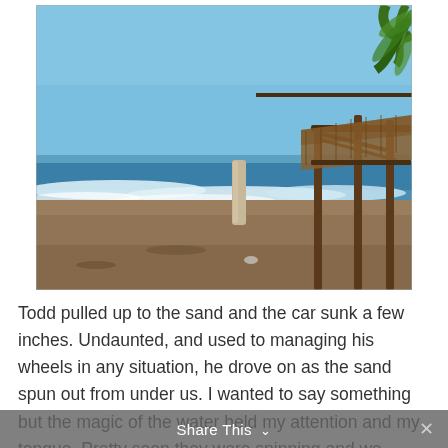[Figure (photo): A beach scene with sandy shore, ocean waves with white foam, blue sky, a standing surfboard or plank upright in the sand, and a rustic thatched-roof structure with wooden poles on the right side. Palm fronds visible in upper right corner.]
Todd pulled up to the sand and the car sunk a few inches. Undaunted, and used to managing his wheels in any situation, he drove on as the sand spun out from under us. I wanted to say something but the magic of the water held my attention and my tongue. Pretty soon they were spinning and we weren't moving. So he shifted into reverse, moved us backward then forward,
Share This ∨  ✕